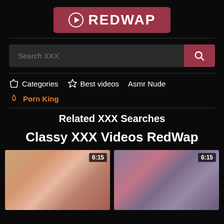[Figure (logo): RedWap logo - play button icon with REDWAP text on dark red/maroon background]
[Figure (screenshot): Search bar with 'Search XXX' placeholder text and red search button]
Categories   Best videos   Asmr Nude
Porn King
Related XXX Searches
Classy XXX Videos RedWap
[Figure (photo): Video thumbnail 1 with duration badge 6:15]
[Figure (photo): Video thumbnail 2 with duration badge 6:15]